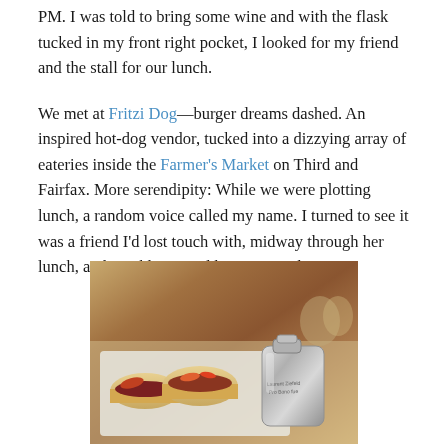PM. I was told to bring some wine and with the flask tucked in my front right pocket, I looked for my friend and the stall for our lunch.
We met at Fritzi Dog—burger dreams dashed. An inspired hot-dog vendor, tucked into a dizzying array of eateries inside the Farmer's Market on Third and Fairfax. More serendipity: While we were plotting lunch, a random voice called my name. I turned to see it was a friend I'd lost touch with, midway through her lunch, and quickly invited her to sit with us.
[Figure (photo): Photo of hot dogs / sandwiches on a tray with a metal flask engraved with text, placed on a white surface at the Farmer's Market.]